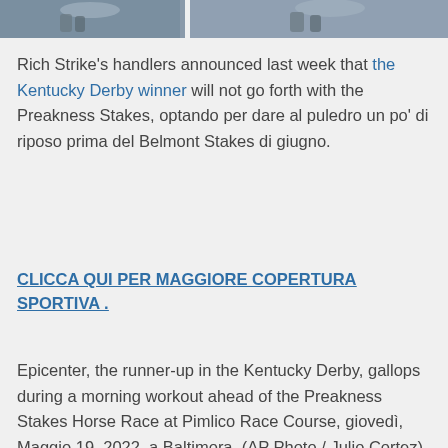[Figure (photo): Partial photo strip at top of page showing horses or racing scene]
Rich Strike's handlers announced last week that the Kentucky Derby winner will not go forth with the Preakness Stakes, optando per dare al puledro un po' di riposo prima del Belmont Stakes di giugno.
CLICCA QUI PER MAGGIORE COPERTURA SPORTIVA .
Epicenter, the runner-up in the Kentucky Derby, gallops during a morning workout ahead of the Preakness Stakes Horse Race at Pimlico Race Course, giovedì, Maggio 19, 2022, a Baltimora. (AP Photo / Julio Cortez)
Rick Dawson, the owner of RED TR-Racing who owns the colt, [object Window], saying their plans were always contingent on what was going to happen with them at the Kentucky Derby. While the